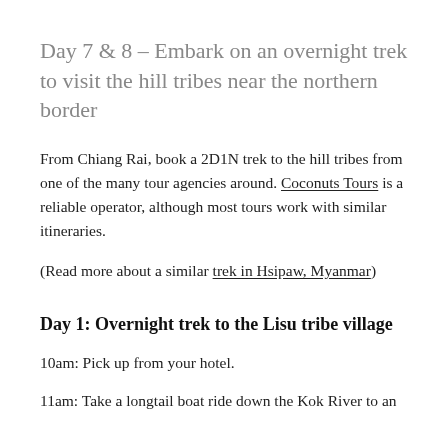Day 7 & 8 – Embark on an overnight trek to visit the hill tribes near the northern border
From Chiang Rai, book a 2D1N trek to the hill tribes from one of the many tour agencies around. Coconuts Tours is a reliable operator, although most tours work with similar itineraries.
(Read more about a similar trek in Hsipaw, Myanmar)
Day 1: Overnight trek to the Lisu tribe village
10am: Pick up from your hotel.
11am: Take a longtail boat ride down the Kok River to an